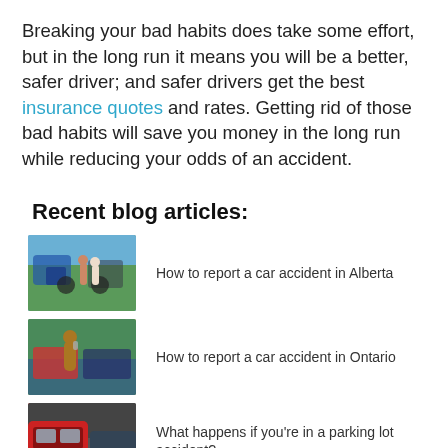Breaking your bad habits does take some effort, but in the long run it means you will be a better, safer driver; and safer drivers get the best insurance quotes and rates. Getting rid of those bad habits will save you money in the long run while reducing your odds of an accident.
Recent blog articles:
[Figure (photo): Two people standing next to cars after an accident, one pointing at the damage]
How to report a car accident in Alberta
[Figure (photo): Man on phone next to car, appears to be reporting a car accident]
How to report a car accident in Ontario
[Figure (photo): Red car in a parking lot, parking lot accident scene]
What happens if you're in a parking lot accident?